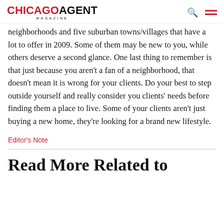CHICAGO AGENT MAGAZINE
neighborhoods and five suburban towns/villages that have a lot to offer in 2009. Some of them may be new to you, while others deserve a second glance. One last thing to remember is that just because you aren't a fan of a neighborhood, that doesn't mean it is wrong for your clients. Do your best to step outside yourself and really consider you clients' needs before finding them a place to live. Some of your clients aren't just buying a new home, they're looking for a brand new lifestyle.
Editor's Note
Read More Related to